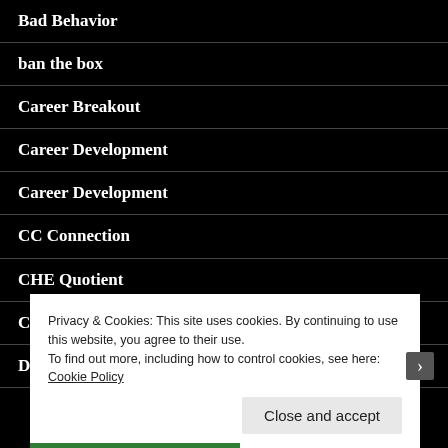Bad Behavior
ban the box
Career Breakout
Career Development
Career Development
CC Connection
CHE Quotient
Christian HELP
Danny Huffman
Privacy & Cookies: This site uses cookies. By continuing to use this website, you agree to their use.
To find out more, including how to control cookies, see here: Cookie Policy
Close and accept